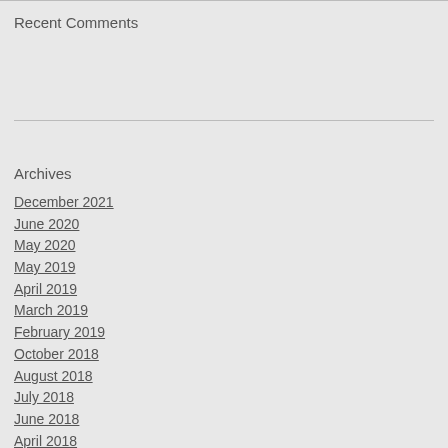Recent Comments
Archives
December 2021
June 2020
May 2020
May 2019
April 2019
March 2019
February 2019
October 2018
August 2018
July 2018
June 2018
April 2018
March 2018